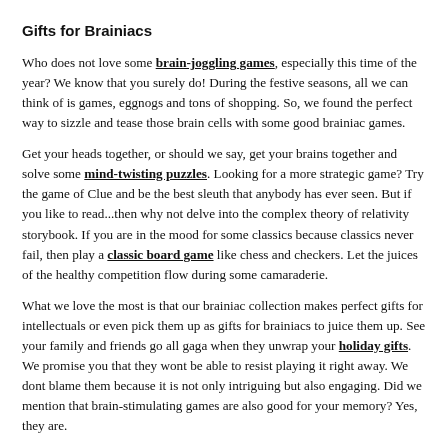Gifts for Brainiacs
Who does not love some brain-joggling games, especially this time of the year? We know that you surely do! During the festive seasons, all we can think of is games, eggnogs and tons of shopping. So, we found the perfect way to sizzle and tease those brain cells with some good brainiac games.
Get your heads together, or should we say, get your brains together and solve some mind-twisting puzzles. Looking for a more strategic game? Try the game of Clue and be the best sleuth that anybody has ever seen. But if you like to read...then why not delve into the complex theory of relativity storybook. If you are in the mood for some classics because classics never fail, then play a classic board game like chess and checkers. Let the juices of the healthy competition flow during some camaraderie.
What we love the most is that our brainiac collection makes perfect gifts for intellectuals or even pick them up as gifts for brainiacs to juice them up. See your family and friends go all gaga when they unwrap your holiday gifts. We promise you that they wont be able to resist playing it right away. We dont blame them because it is not only intriguing but also engaging. Did we mention that brain-stimulating games are also good for your memory? Yes, they are.
We are completely in love with our brainiac collection because not